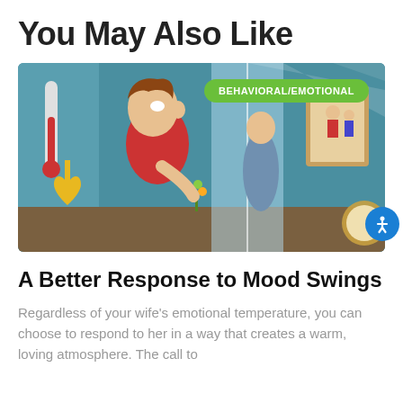You May Also Like
[Figure (illustration): Illustrated scene of a cartoon man in a red shirt holding flowers and a heart-shaped decoration, standing in a doorway, with a woman visible through a glass/shower curtain in the background. A family portrait painting is visible on the wall to the right. A green badge reading 'BEHAVIORAL/EMOTIONAL' appears in the top right of the image. An accessibility icon button appears at the bottom right.]
A Better Response to Mood Swings
Regardless of your wife's emotional temperature, you can choose to respond to her in a way that creates a warm, loving atmosphere. The call to